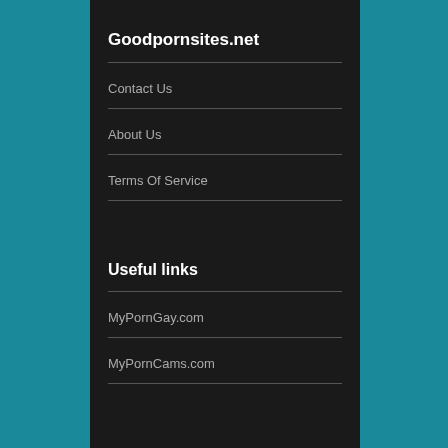Goodpornsites.net
Contact Us
About Us
Terms Of Service
Useful links
MyPornGay.com
MyPornCams.com